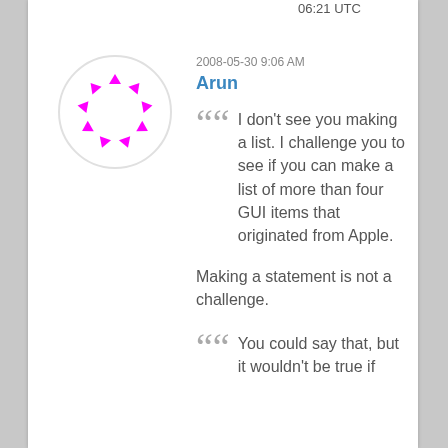06:21 UTC
[Figure (logo): Circular avatar with pink/magenta arrow/triangle shapes arranged in a ring on white background]
2008-05-30 9:06 AM
Arun
I don't see you making a list. I challenge you to see if you can make a list of more than four GUI items that originated from Apple.
Making a statement is not a challenge.
You could say that, but it wouldn't be true if